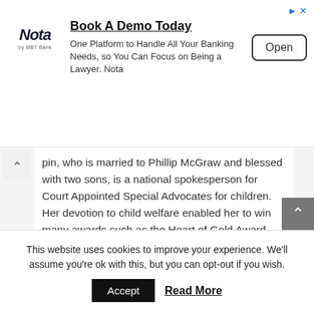[Figure (other): Advertisement banner for Nota banking platform with logo, headline 'Book A Demo Today', body text, and Open button]
pin, who is married to Phillip McGraw and blessed with two sons, is a national spokesperson for Court Appointed Special Advocates for children. Her devotion to child welfare enabled her to win many awards such as the Heart of Gold Award.
She has in several times worked with her husband and co-hosted many television events such as Boston Pops Fireworks Spectacular.
Being a famous host of Dr. Phil Show, she's now been
This website uses cookies to improve your experience. We'll assume you're ok with this, but you can opt-out if you wish.